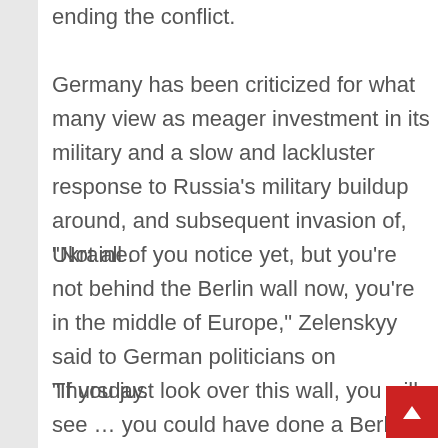ending the conflict.
Germany has been criticized for what many view as meager investment in its military and a slow and lackluster response to Russia’s military buildup around, and subsequent invasion of, Ukraine.
“Not all of you notice yet, but you’re not behind the Berlin wall now, you’re in the middle of Europe,” Zelenskyy said to German politicians on Thursday.
“If you just look over this wall, you will see … you could have done a Berlin air bridge to make our skies safe.”
Zelenskyy warned that if Germany did not take